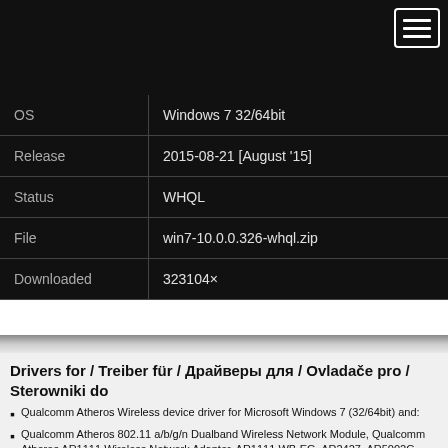| Field | Value |
| --- | --- |
| OS | Windows 7 32/64bit |
| Release | 2015-08-21 [August '15] |
| Status | WHQL |
| File | win7-10.0.0.326-whql.zip |
| Downloaded | 323104× |
Drivers for / Treiber für / Драйверы для / Ovladače pro / Sterowniki do
Qualcomm Atheros Wireless device driver for Microsoft Windows 7 (32/64bit) and:
Qualcomm Atheros 802.11 a/b/g/n Dualband Wireless Network Module, Qualcomm Atheros AR1111 Wireless Network Adapter, AR1111 WB-EG, AR2427, AR5002G, AR5002X, AR5004G, AR5004X, AR5005G, AR5005GS, AR5006, AR5006EG, AR5006EGS, AR5006EX, AR5006EXS, AR5006G, AR5006GS, AR5006X, AR5006XS, AR5007, AR5007EG, AR5007G, AR5008, AR5008WB-EG, AR5008X, AR5009, AR5B116, AR5B125, AR5B195, AR5B91, AR5B92, AR5B93, AR5B95, AR5B97, AR5BMD222, AR5BMD225, AR5BNFA222, AR5BWB222, AR5BWB225, AR9002WB, AR9002WB-1NG, AR9002WB-2NG, AR9227, AR922X, AR9280, AR9281, AR9283,